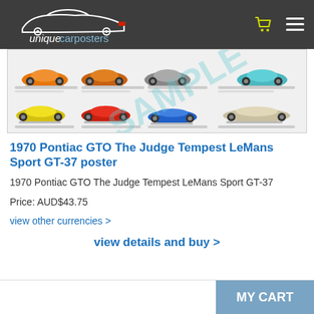uniquecarposters — navigation bar with logo, cart icon, and hamburger menu
[Figure (photo): Product poster image showing 1970 Pontiac GTO The Judge Tempest LeMans Sport GT-37 — a grid of classic car illustrations in orange, red, yellow, blue, and cream/beige colors on a white background with a watermark overlay]
1970 Pontiac GTO The Judge Tempest LeMans Sport GT-37 poster
1970 Pontiac GTO The Judge Tempest LeMans Sport GT-37
Price: AUD$43.75
view other currencies >
view details and buy >
MY CART